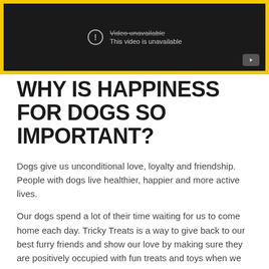[Figure (screenshot): Embedded video player with yellow border showing 'Video unavailable' and 'This video is unavailable' message on dark background with YouTube play button icon in bottom right]
WHY IS HAPPINESS FOR DOGS SO IMPORTANT?
Dogs give us unconditional love, loyalty and friendship. People with dogs live healthier, happier and more active lives.
Our dogs spend a lot of their time waiting for us to come home each day. Tricky Treats is a way to give back to our best furry friends and show our love by making sure they are positively occupied with fun treats and toys when we are away.